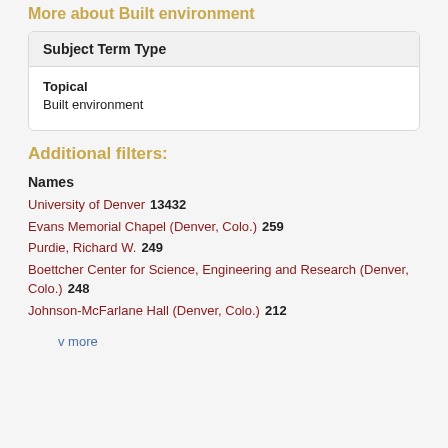More about Built environment
| Subject Term Type |
| --- |
| Topical
Built environment |
Additional filters:
Names
University of Denver   13432
Evans Memorial Chapel (Denver, Colo.)   259
Purdie, Richard W.   249
Boettcher Center for Science, Engineering and Research (Denver, Colo.)   248
Johnson-McFarlane Hall (Denver, Colo.)   212
v more